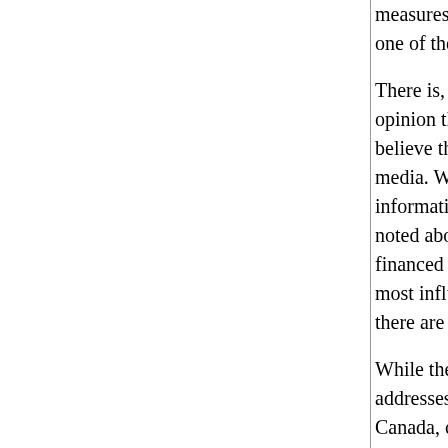measures to establish the "efficient in... one of the apparent requirements of na...
There is, in fact, a great deal of evidence from surveys of opinion that have been carried out which shows that Canadians believe that action should be taken to strengthen Canadian media. While public attitudes represent important information is not assessed in this study. As noted above, Canadians prefer U.S. media when publicly financed Canadian alternatives are given. As for the most influential of the media, he notes that in television there are few alternatives to U.S. programs.
While the particular focus of this study addresses a wide range of issues, including foreign ownership in Canada, concentration of media ownership, the role and functions of the Parliamentary Press Gallery. While the author's opinions are bluntly expressed, information is assembled as a basis for debate. One unfortunate exception is a very partial account of the (Kent) Royal Commission on Newspapers. Action is required not just to avoid further newspaper failures but a competitive media industry, the Kent Commission lumped together indiscriminately as proposals threatening the industry. No realistic alternatives are